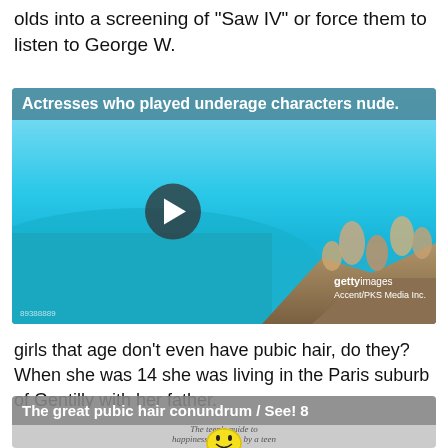olds into a screening of 'Saw IV' or force them to listen to George W.
[Figure (photo): Getty Images photo of girls in bikinis sitting on rocks by the sea, with a play button overlay. Label reads: Actresses who played underage characters nude.]
girls that age don't even have pubic hair, do they? When she was 14 she was living in the Paris suburb of Gentilly with her father.
[Figure (other): Card with label 'The great pubic hair conundrum / See! 8' and a book cover image 'The teen's guide to happiness for teens by a teen' with a smiley face illustration.]